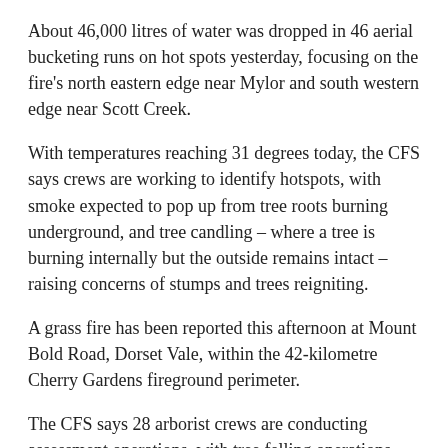About 46,000 litres of water was dropped in 46 aerial bucketing runs on hot spots yesterday, focusing on the fire's north eastern edge near Mylor and south western edge near Scott Creek.
With temperatures reaching 31 degrees today, the CFS says crews are working to identify hotspots, with smoke expected to pop up from tree roots burning underground, and tree candling – where a tree is burning internally but the outside remains intact – raising concerns of stumps and trees reigniting.
A grass fire has been reported this afternoon at Mount Bold Road, Dorset Vale, within the 42-kilometre Cherry Gardens fireground perimeter.
The CFS says 28 arborist crews are conducting assessment operations, with tree felling operations underway where dangerous trees are identified.